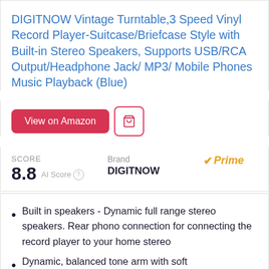DIGITNOW Vintage Turntable,3 Speed Vinyl Record Player-Suitcase/Briefcase Style with Built-in Stereo Speakers, Supports USB/RCA Output/Headphone Jack/ MP3/ Mobile Phones Music Playback (Blue)
View on Amazon
SCORE
8.8 AI Score
Brand DIGITNOW
✔Prime
Built in speakers - Dynamic full range stereo speakers. Rear phono connection for connecting the record player to your home stereo
Dynamic, balanced tone arm with soft